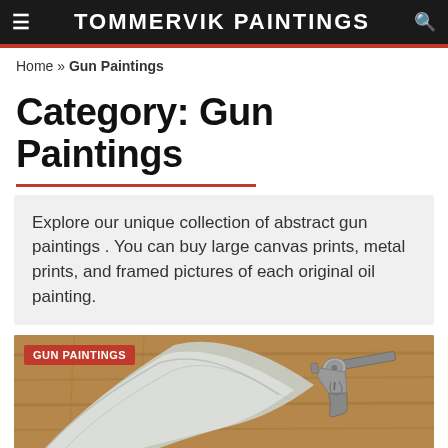TOMMERVIK PAINTINGS
Home » Gun Paintings
Category: Gun Paintings
Explore our unique collection of abstract gun paintings . You can buy large canvas prints, metal prints, and framed pictures of each original oil painting.
[Figure (photo): Oil painting of a gun on a wooden background with a large white feather or wing shape, labeled GUN PAINTINGS]